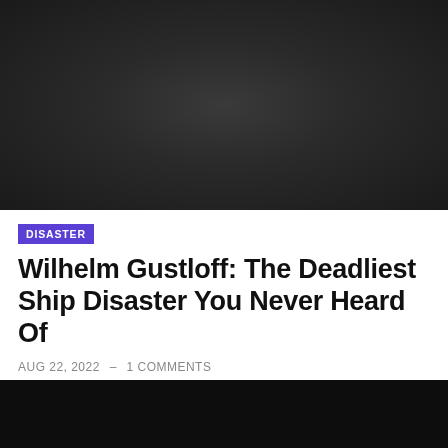[Figure (photo): Dark gray/black background hero image, appears to be a dark photograph or placeholder]
DISASTER
Wilhelm Gustloff: The Deadliest Ship Disaster You Never Heard Of
AUG 22, 2022  –  1 COMMENTS
[Figure (photo): Dark black background image at the bottom of the page, partial view]